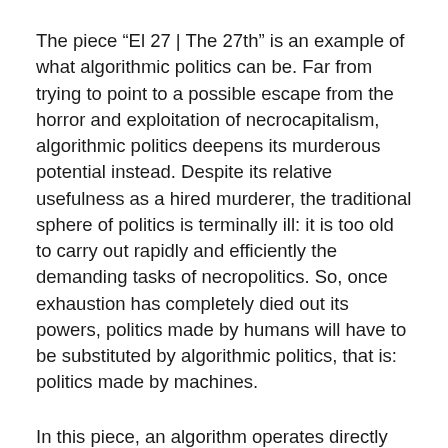The piece “El 27 | The 27th” is an example of what algorithmic politics can be. Far from trying to point to a possible escape from the horror and exploitation of necrocapitalism, algorithmic politics deepens its murderous potential instead. Despite its relative usefulness as a hired murderer, the traditional sphere of politics is terminally ill: it is too old to carry out rapidly and efficiently the demanding tasks of necropolitics. So, once exhaustion has completely died out its powers, politics made by humans will have to be substituted by algorithmic politics, that is: politics made by machines.
In this piece, an algorithm operates directly on the text of Article 27 in the following way: every night, after the activity at the New York Stock exchange has come to an end, a robot obtains its last closing price and its respective percent variation. If the variation is positive, another robot chooses a fragment of Article 27 randomly, translates it into English automatically, and inserts the translation into its corresponding place...